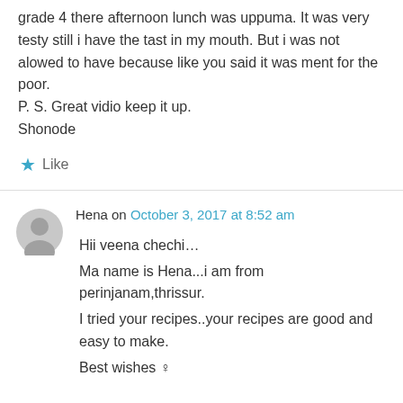grade 4 there afternoon lunch was uppuma. It was very testy still i have the tast in my mouth. But i was not alowed to have because like you said it was ment for the poor.
P. S. Great vidio keep it up.
Shonode
★ Like
Hena on October 3, 2017 at 8:52 am
Hii veena chechi…
Ma name is Hena...i am from perinjanam,thrissur.
I tried your recipes..your recipes are good and easy to make.
Best wishes ♀